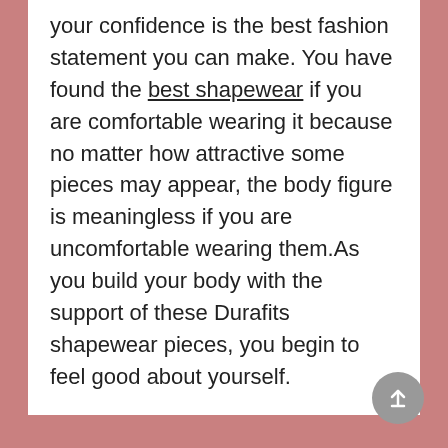your confidence is the best fashion statement you can make. You have found the best shapewear if you are comfortable wearing it because no matter how attractive some pieces may appear, the body figure is meaningless if you are uncomfortable wearing them.As you build your body with the support of these Durafits shapewear pieces, you begin to feel good about yourself.